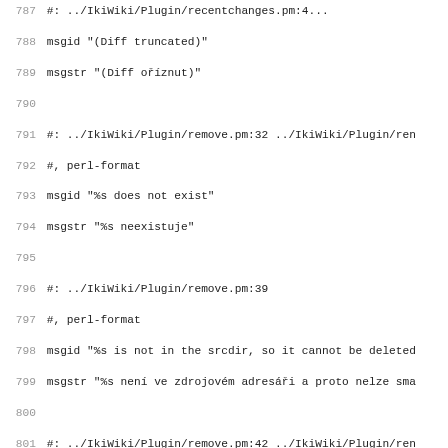Code/PO file content showing gettext translation entries for IkiWiki Plugin remove.pm and rename.pm, lines 787-819
788 msgid "(Diff truncated)"
789 msgstr "(Diff oříznut)"
790
791 #: ../IkiWiki/Plugin/remove.pm:32 ../IkiWiki/Plugin/re
792 #, perl-format
793 msgid "%s does not exist"
794 msgstr "%s neexistuje"
795
796 #: ../IkiWiki/Plugin/remove.pm:39
797 #, perl-format
798 msgid "%s is not in the srcdir, so it cannot be delete
799 msgstr "%s není ve zdrojovém adresáři a proto nelze sma
800
801 #: ../IkiWiki/Plugin/remove.pm:42 ../IkiWiki/Plugin/re
802 #, perl-format
803 msgid "%s is not a file"
804 msgstr "%s není souborem"
805
806 #: ../IkiWiki/Plugin/remove.pm:135
807 #, perl-format
808 msgid "confirm removal of %s"
809 msgstr "potvrďte odstranění %s"
810
811 #: ../IkiWiki/Plugin/remove.pm:172
812 msgid "Please select the attachments to remove."
813 msgstr "Vyberte prosim přílohy, které se mají odstranit
814
815 #: ../IkiWiki/Plugin/remove.pm:212
816 msgid "removed"
817 msgstr "odstraněno"
818
819 #: ../IkiWiki/Plugin/rename.pm:43